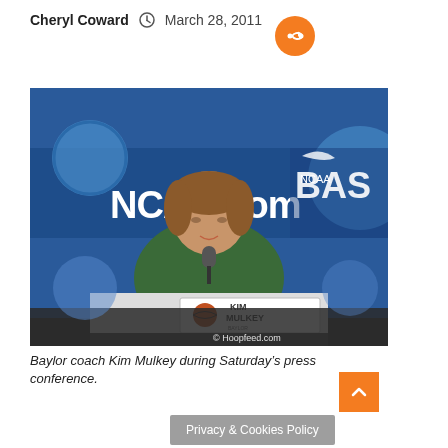Cheryl Coward  March 28, 2011
[Figure (photo): Baylor coach Kim Mulkey seated at a press conference table with an NCAA.com branded backdrop and a nameplate reading KIM MULKEY. Watermark: © Hoopfeed.com]
Baylor coach Kim Mulkey during Saturday’s press conference.
Privacy & Cookies Policy